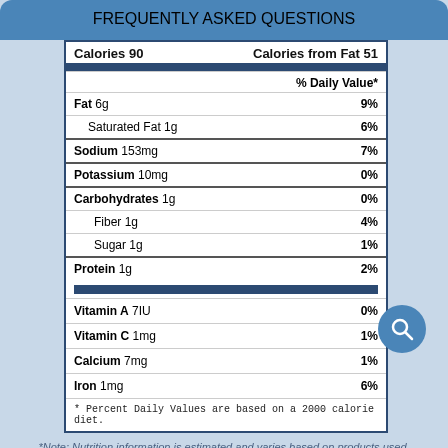FREQUENTLY ASKED QUESTIONS
| Nutrient | Amount | % Daily Value |
| --- | --- | --- |
| Fat 6g |  | 9% |
| Saturated Fat 1g |  | 6% |
| Sodium 153mg |  | 7% |
| Potassium 10mg |  | 0% |
| Carbohydrates 1g |  | 0% |
| Fiber 1g |  | 4% |
| Sugar 1g |  | 1% |
| Protein 1g |  | 2% |
| Vitamin A 7IU |  | 0% |
| Vitamin C 1mg |  | 1% |
| Calcium 7mg |  | 1% |
| Iron 1mg |  | 6% |
* Percent Daily Values are based on a 2000 calorie diet.
*Note: Nutrition information is estimated and varies based on products used.